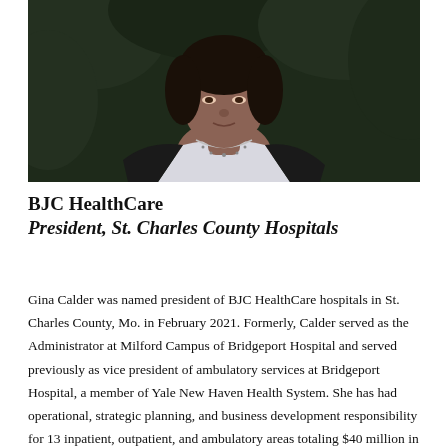[Figure (photo): Portrait photo of Gina Calder, a person wearing a white top and dark cardigan with a silver necklace, photographed outdoors against a blurred green background.]
BJC HealthCare
President,  St. Charles County Hospitals
Gina Calder was named president of BJC HealthCare hospitals in St. Charles County, Mo. in February 2021. Formerly, Calder served as the Administrator at Milford Campus of Bridgeport Hospital and served previously as vice president of ambulatory services at Bridgeport Hospital, a member of Yale New Haven Health System. She has had operational, strategic planning, and business development responsibility for 13 inpatient, outpatient, and ambulatory areas totaling $40 million in revenue and 80,000 patient